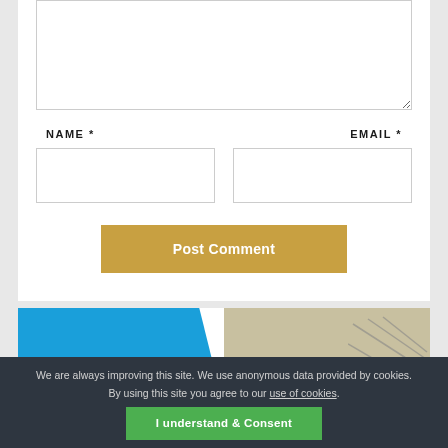[Figure (screenshot): Textarea input box, partially visible at top]
NAME *
EMAIL *
[Figure (screenshot): Name text input field]
[Figure (screenshot): Email text input field]
Post Comment
[Figure (photo): Blue and photo section card below the comment form]
We are always improving this site. We use anonymous data provided by cookies. By using this site you agree to our use of cookies.
I understand & Consent